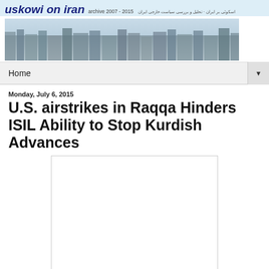uskowi on iran archive 2007 - 2015
[Figure (photo): Aerial cityscape photo used as site banner for Uskowi on Iran blog]
Home
Monday, July 6, 2015
U.S. airstrikes in Raqqa Hinders ISIL Ability to Stop Kurdish Advances
[Figure (other): Embedded media placeholder (video or image)]
U.S. Secretary of Defense Ash Carter said in Washington on